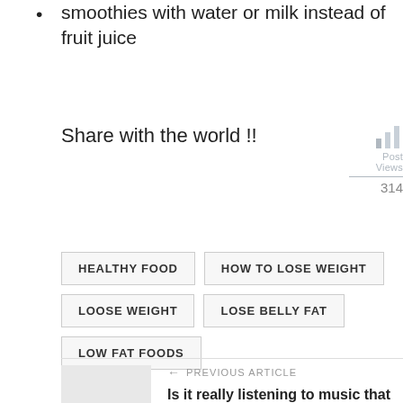smoothies with water or milk instead of fruit juice
Share with the world !!
Post Views: 314
HEALTHY FOOD   HOW TO LOSE WEIGHT   LOOSE WEIGHT   LOSE BELLY FAT   LOW FAT FOODS
← PREVIOUS ARTICLE
Is it really listening to music that can heal your mind?